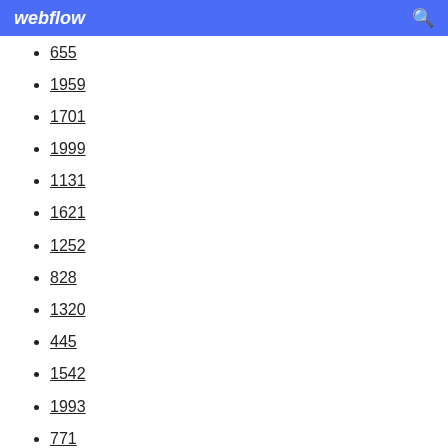webflow
655
1959
1701
1999
1131
1621
1252
828
1320
445
1542
1993
771